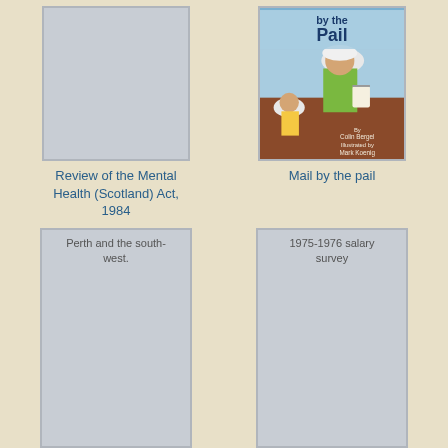[Figure (illustration): Book cover placeholder (grey) for 'Review of the Mental Health (Scotland) Act, 1984']
Review of the Mental Health (Scotland) Act, 1984
[Figure (illustration): Book cover illustration for 'Mail by the pail' showing workers with pails, by Colin Bergel, illustrated by Mark Koenig]
Mail by the pail
[Figure (illustration): Book cover placeholder (grey) for 'Perth and the south-west.']
Perth and the south-west.
[Figure (illustration): Book cover placeholder (grey) for '1975-1976 salary survey']
1975-1976 salary survey